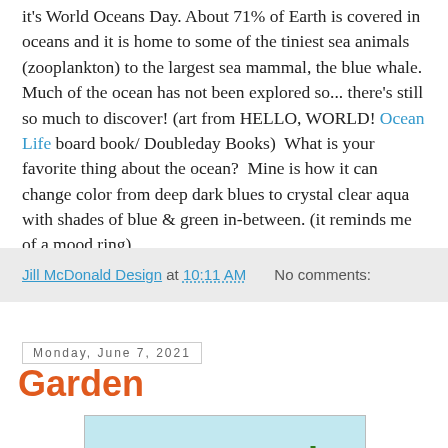it's World Oceans Day. About 71% of Earth is covered in oceans and it is home to some of the tiniest sea animals (zooplankton) to the largest sea mammal, the blue whale. Much of the ocean has not been explored so... there's still so much to discover! (art from HELLO, WORLD! Ocean Life board book/ Doubleday Books)  What is your favorite thing about the ocean?  Mine is how it can change color from deep dark blues to crystal clear aqua with shades of blue & green in-between. (it reminds me of a mood ring)
Jill McDonald Design at 10:11 AM    No comments:
Monday, June 7, 2021
Garden
[Figure (illustration): Colorful garden illustration with flowers, vegetables and plants on a light blue background]